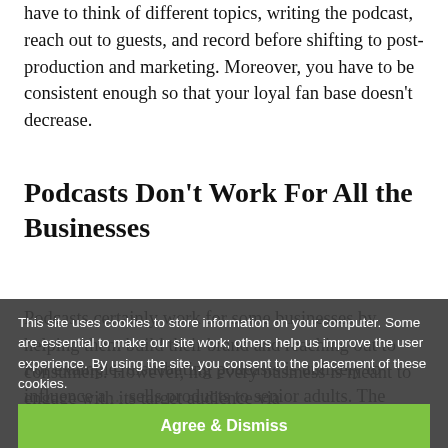have to think of different topics, writing the podcast, reach out to guests, and record before shifting to post-production and marketing. Moreover, you have to be consistent enough so that your loyal fan base doesn't decrease.
Podcasts Don't Work For All the Businesses
Podcasts certainly work for some businesses by helping them build their brand and reaching out to consumers. However, not every business is meant to engage with its target audience via
For example, distributing podcasts is unlikely to influence a ... sells products to senior adults. The business target audience is
This site uses cookies to store information on your computer. Some are essential to make our site work; others help us improve the user experience. By using the site, you consent to the placement of these cookies.